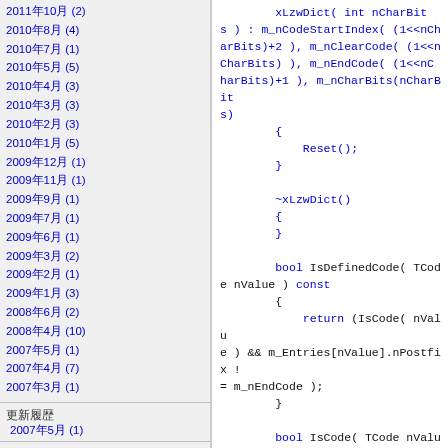2011年10月 (2)
2010年8月 (4)
2010年7月 (1)
2010年5月 (5)
2010年4月 (3)
2010年3月 (3)
2010年2月 (3)
2010年1月 (5)
2009年12月 (1)
2009年11月 (1)
2009年9月 (1)
2009年7月 (1)
2009年6月 (1)
2009年3月 (2)
2009年2月 (1)
2009年1月 (3)
2008年6月 (2)
2008年4月 (10)
2007年5月 (1)
2007年4月 (7)
2007年3月 (1)
更新履歴
2007年5月 (1)
分類
aaa
友達のBLOG
検索
[Figure (screenshot): Search input box with search button]
購読 XML
1. re: 【詳しく】Android ndkでAssetManage...